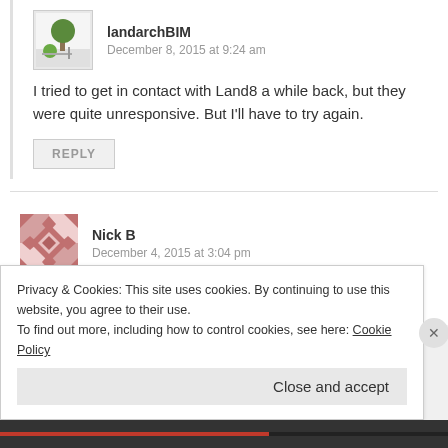[Figure (illustration): Avatar for landarchBIM - architectural plan with tree]
landarchBIM
December 8, 2015 at 9:24 am
I tried to get in contact with Land8 a while back, but they were quite unresponsive. But I'll have to try again.
REPLY
[Figure (illustration): Avatar for Nick B - geometric pattern in pink/red]
Nick B
December 4, 2015 at 3:04 pm
I wish I could have been there. Thank you so much for...
Privacy & Cookies: This site uses cookies. By continuing to use this website, you agree to their use.
To find out more, including how to control cookies, see here: Cookie Policy
Close and accept